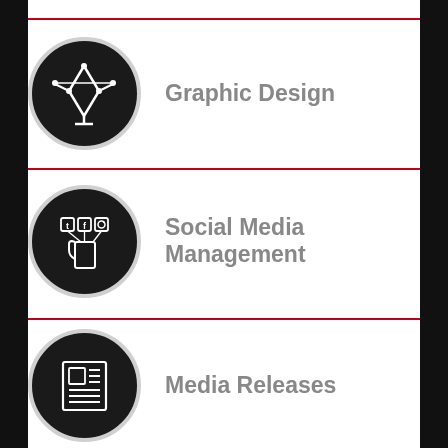Graphic Design
Social Media Management
Media Releases